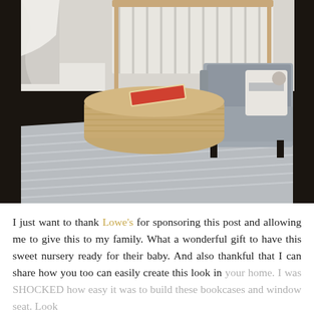[Figure (photo): Interior nursery scene showing a woven jute pouf/ottoman with a book on top, a light grey sofa/loveseat with decorative pillows, a white crib in the background, and a patterned grey and white area rug on dark hardwood floors.]
I just want to thank Lowe's for sponsoring this post and allowing me to give this to my family. What a wonderful gift to have this sweet nursery ready for their baby. And also thankful that I can share how you too can easily create this look in your home. I was SHOCKED how easy it was to build these bookcases and window seat. Look